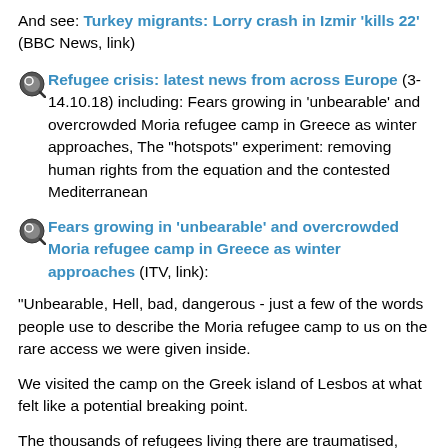And see: Turkey migrants: Lorry crash in Izmir 'kills 22' (BBC News, link)
Refugee crisis: latest news from across Europe (3-14.10.18) including: Fears growing in 'unbearable' and overcrowded Moria refugee camp in Greece as winter approaches, The "hotspots" experiment: removing human rights from the equation and the contested Mediterranean
Fears growing in 'unbearable' and overcrowded Moria refugee camp in Greece as winter approaches (ITV, link):
"Unbearable, Hell, bad, dangerous - just a few of the words people use to describe the Moria refugee camp to us on the rare access we were given inside.
We visited the camp on the Greek island of Lesbos at what felt like a potential breaking point.
The thousands of refugees living there are traumatised, trapped and the hope they had when they arrived has been replaced with